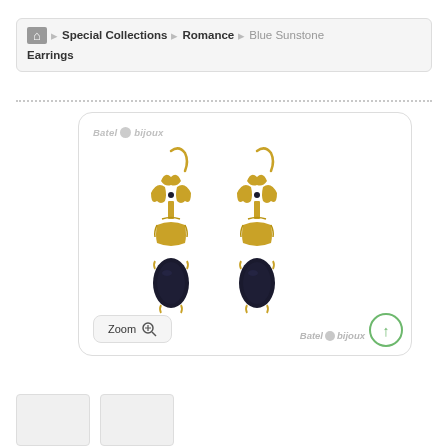Home > Special Collections > Romance > Blue Sunstone Earrings
[Figure (photo): Two gold drop earrings with fleur-de-lis tops and dark blue/black teardrop gemstone pendants set in decorative gold claws, displayed on white background. Batel Bijoux watermark visible. Zoom button and up-arrow navigation shown.]
[Figure (photo): Two small thumbnail previews of the earring product at bottom of page]